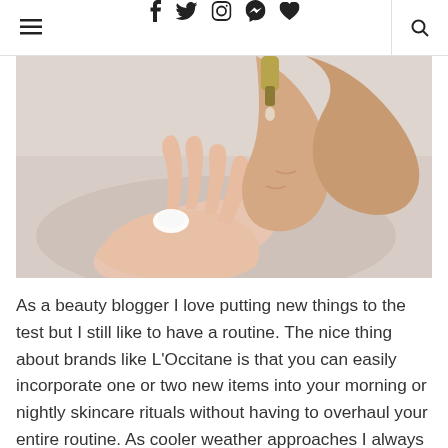≡  f  𝕥  ◯  ⊕  ♥  🔍
[Figure (photo): Close-up photo of two hands — one palm up holding a small white cream or pill, another hand above squeezing a product from a bottle, with a light grey/white background]
As a beauty blogger I love putting new things to the test but I still like to have a routine. The nice thing about brands like L'Occitane is that you can easily incorporate one or two new items into your morning or nightly skincare rituals without having to overhaul your entire routine. As cooler weather approaches I always have to switch things up a bit as my skin in dire to...